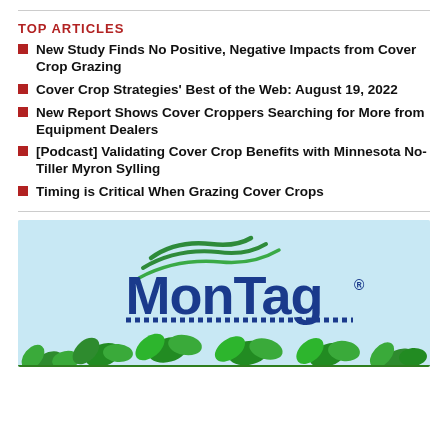TOP ARTICLES
New Study Finds No Positive, Negative Impacts from Cover Crop Grazing
Cover Crop Strategies' Best of the Web: August 19, 2022
New Report Shows Cover Croppers Searching for More from Equipment Dealers
[Podcast] Validating Cover Crop Benefits with Minnesota No-Tiller Myron Sylling
Timing is Critical When Grazing Cover Crops
[Figure (logo): MonTag company logo with green swoosh above bold blue MonTag text, green clover/plant illustration at bottom, light blue background advertisement]